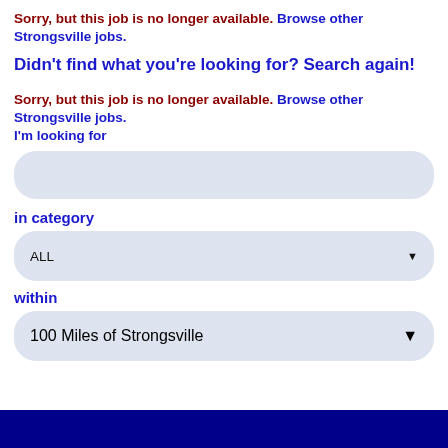Sorry, but this job is no longer available. Browse other Strongsville jobs.
Didn't find what you're looking for? Search again!
Sorry, but this job is no longer available. Browse other Strongsville jobs.
I'm looking for
[Figure (other): Text input field with rounded corners and light blue background]
in category
[Figure (other): Dropdown select box showing ALL with arrow, rounded corners, light blue background]
within
[Figure (other): Dropdown select box showing 100 Miles of Strongsville with arrow, rounded corners, light blue background]
[Figure (other): Dark blue button at bottom of page]